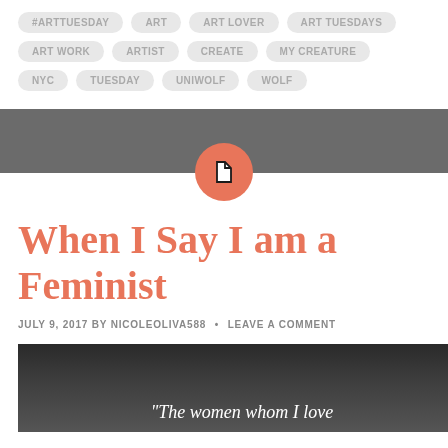#ARTTUESDAY
ART
ART LOVER
ART TUESDAYS
ART WORK
ARTIST
CREATE
MY CREATURE
NYC
TUESDAY
UNIWOLF
WOLF
[Figure (logo): Document page icon in a salmon/coral circle, displayed on a gray bar]
When I Say I am a Feminist
JULY 9, 2017 BY NICOLEOLIVA588 • LEAVE A COMMENT
[Figure (photo): Dark gradient image with white italic quote text: "The women whom I love"]